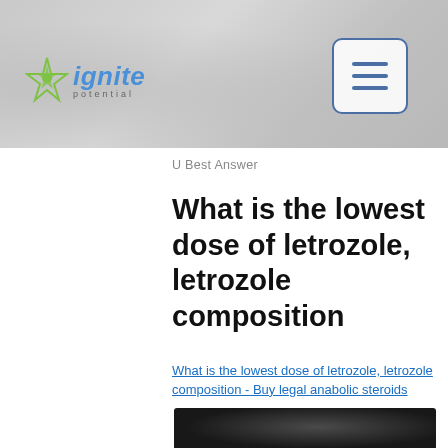[Figure (logo): Ignite Potential logo with compass/star icon and italic blue text]
U Best Answer
What is the lowest dose of letrozole, letrozole composition
What is the lowest dose of letrozole, letrozole composition - Buy legal anabolic steroids
[Figure (photo): Dark blurred photograph, partially visible at bottom of page]